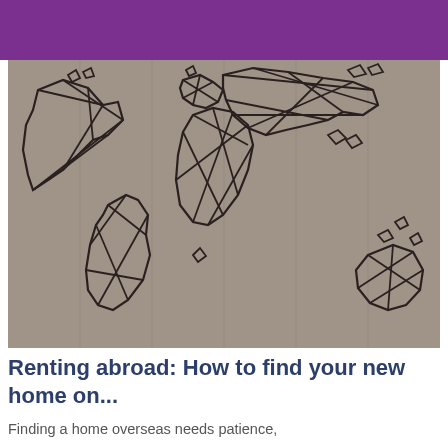[Figure (illustration): Purple banner/header bar at the top of the page]
[Figure (illustration): Geometric low-poly world map illustration drawn with black lines on a grey concrete/wood textured background]
Renting abroad: How to find your new home on...
Finding a home overseas needs patience,